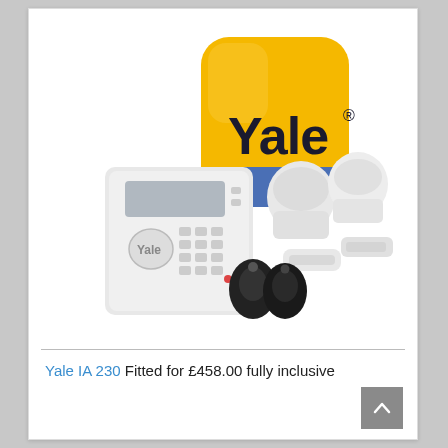[Figure (photo): Yale IA 230 alarm system product photo showing yellow Yale siren/bell box with 'Yale' branding, white keypad control panel, two white PIR motion detectors, two small white door/window sensors, and two black RFID key fobs arranged together on a white background.]
Yale IA 230 Fitted for £458.00 fully inclusive